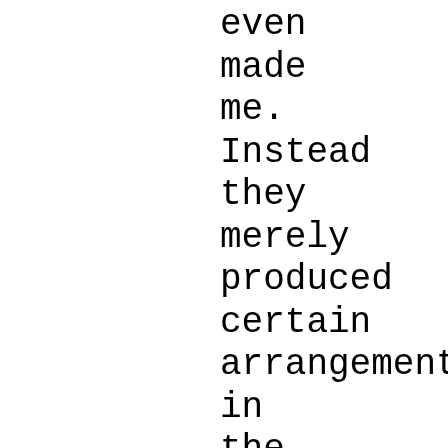have even made me. Instead they merely produced certain arrangements in the material substance which, as I have judged the matter, contains